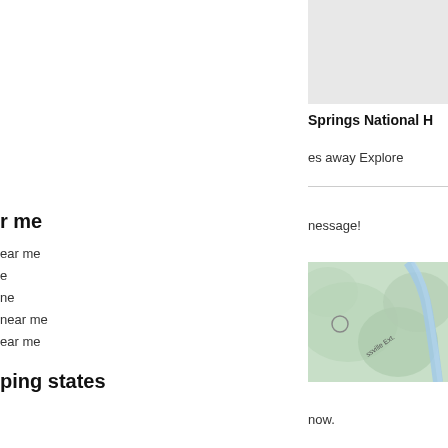[Figure (map): Gray placeholder map image in upper right area]
Springs National H
es away Explore
r me
ear me
e
ne
near me
ear me
ping states
nessage!
[Figure (map): Topo/road map showing green terrain with blue river and road labeled ssville Ext.]
now.